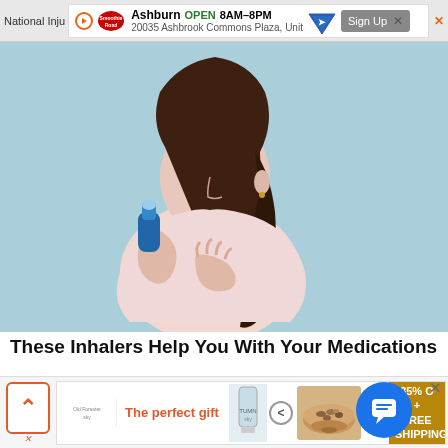[Figure (screenshot): Top advertisement banner: Smoothies Road store ad showing Ashburn location, OPEN 8AM-8PM, address 20035 Ashbrook Commons Plaza, Unit, with map icon, Sign Up button, and close X]
[Figure (photo): Woman with long dark hair using a blue inhaler, wearing a light pink top, hand on chest, light blue background]
These Inhalers Help You With Your Medications
SmartSearches.net | Sponsored
[Figure (screenshot): Bottom advertisement banner: 'The perfect gift' promotion from Old Forester with product images, navigation arrows, and 35% Off + Free Shipping offer in gold/brown box. Chat bubble overlay on right.]